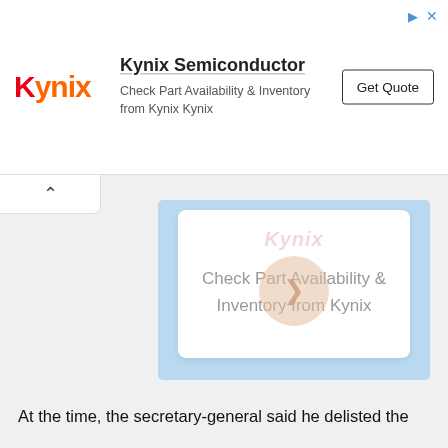[Figure (other): Kynix Semiconductor advertisement banner with logo, text 'Check Part Availability & Inventory from Kynix Kynix', and 'Get Quote' button]
[Figure (other): Kynix ad card with blue border, watermark logo, text 'Check Part Availability & Inventory from Kynix', and orange chevron circle button]
At the time, the secretary-general said he delisted the